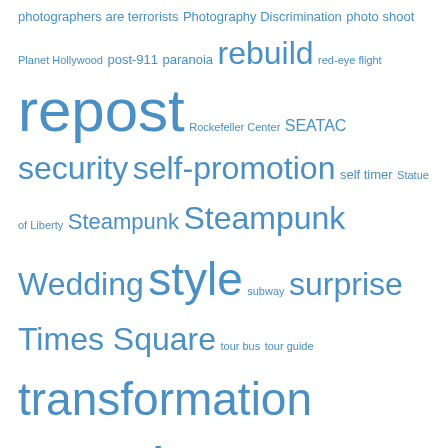photographers are terrorists Photography Discrimination photo shoot Planet Hollywood post-911 paranoia rebuild red-eye flight repost Rockefeller Center SEATAC security self-promotion self timer Statue of Liberty Steampunk Steampunk Wedding style subway surprise Times Square tour bus tour guide transformation travel TSA updo Uptown vicomte de chagny Wall Street website wedding World Trade Center
Archives
December 2013
July 2013
June 2013
April 2013